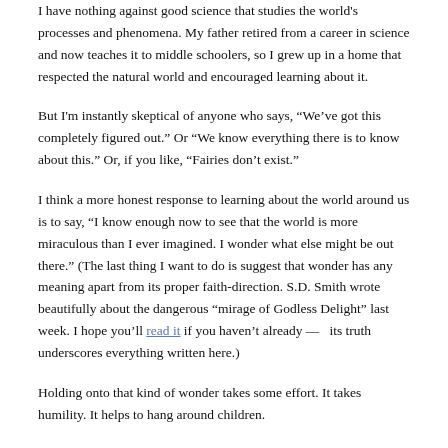I have nothing against good science that studies the world's processes and phenomena. My father retired from a career in science and now teaches it to middle schoolers, so I grew up in a home that respected the natural world and encouraged learning about it.
But I'm instantly skeptical of anyone who says, “We’ve got this completely figured out.” Or “We know everything there is to know about this.” Or, if you like, “Fairies don’t exist.”
I think a more honest response to learning about the world around us is to say, “I know enough now to see that the world is more miraculous than I ever imagined. I wonder what else might be out there.” (The last thing I want to do is suggest that wonder has any meaning apart from its proper faith-direction. S.D. Smith wrote beautifully about the dangerous “mirage of Godless Delight” last week. I hope you’ll read it if you haven’t already —  its truth underscores everything written here.)
Holding onto that kind of wonder takes some effort. It takes humility. It helps to hang around children.